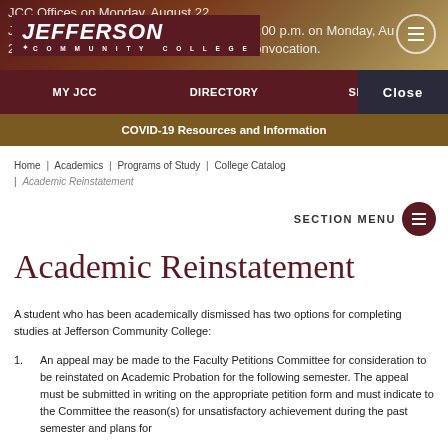JCC Offices on Monday, August 22
[Figure (logo): Jefferson Community College logo - white text on dark red background]
MY JCC | DIRECTORY | SEARCH | Close
COVID-19 Resources and Information
Home | Academics | Programs of Study | College Catalog | Academic Reinstatement
SECTION MENU
Academic Reinstatement
A student who has been academically dismissed has two options for completing studies at Jefferson Community College:
An appeal may be made to the Faculty Petitions Committee for consideration to be reinstated on Academic Probation for the following semester. The appeal must be submitted in writing on the appropriate petition form and must indicate to the Committee the reason(s) for unsatisfactory achievement during the past semester and plans for